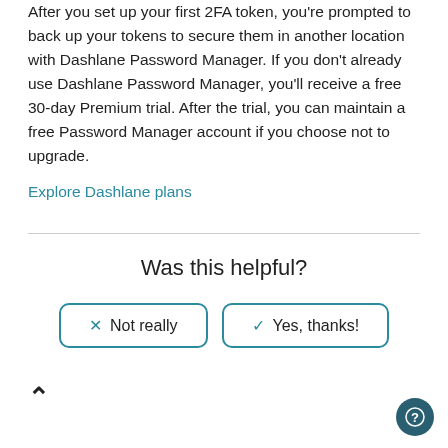After you set up your first 2FA token, you’re prompted to back up your tokens to secure them in another location with Dashlane Password Manager. If you don’t already use Dashlane Password Manager, you’ll receive a free 30-day Premium trial. After the trial, you can maintain a free Password Manager account if you choose not to upgrade.
Explore Dashlane plans
Was this helpful?
Not really
Yes, thanks!